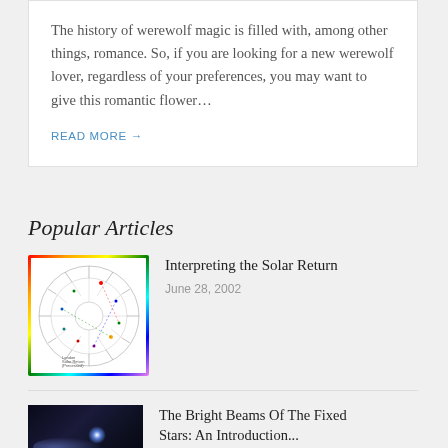The history of werewolf magic is filled with, among other things, romance. So, if you are looking for a new werewolf lover, regardless of your preferences, you may want to give this romantic flower…
READ MORE →
Popular Articles
[Figure (other): Astrological natal/solar return chart diagram in a rainbow-bordered square frame. The chart shows a circular wheel with house divisions, planets, and aspect lines. Labeled 'London Solar Return (Precessed)' at bottom.]
Interpreting the Solar Return
June 28, 2002
[Figure (photo): Dark astronomical photo showing a bright star or nebula against a deep black space background with blue-purple hues.]
The Bright Beams Of The Fixed Stars: An Introduction...